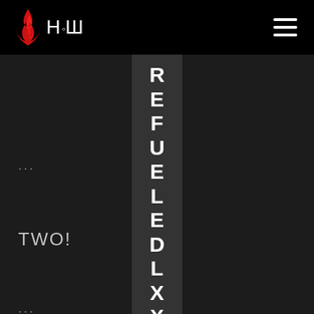[Figure (logo): HCW logo with flame icon on black header bar, and hamburger menu icon on right]
[Figure (other): Dark webpage layout with a vertical dark band containing the word REFUELED LXX written vertically, left side shows '...' and 'TWO!' text on dark background]